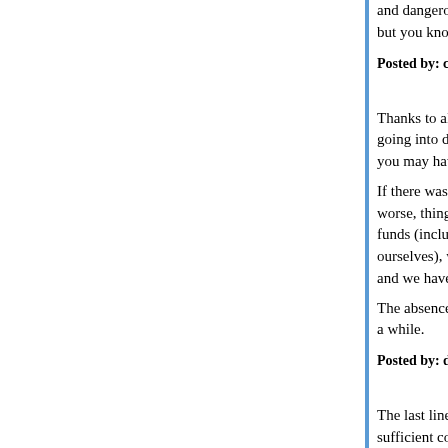and dangerous but nice to hide in. Java is like a w but you know it's just a simulation running in a co
Posted by: cleek | January 11, 2018 at 06:05 PM
Thanks to all of you who expressed sympathy for going into details, it's not actually as bad at prese you may have inferred, or as it may yet become.
If there was hope of eventual improvement, or ev worse, things wouldn't be that bad. We've got a lo funds (including enough to "throw money" at som ourselves), we have Skype for communicating wit and we have each other.
The absence of the hope and the guarantee, how a while.
Posted by: dr ngo | January 12, 2018 at 02:33 AM
The last line of code I wrote was in C ... about 27 sufficient context at the time to think of it as anyth
Posted by: hairshirthedonist | January 12, 2018 at 09:32 AM